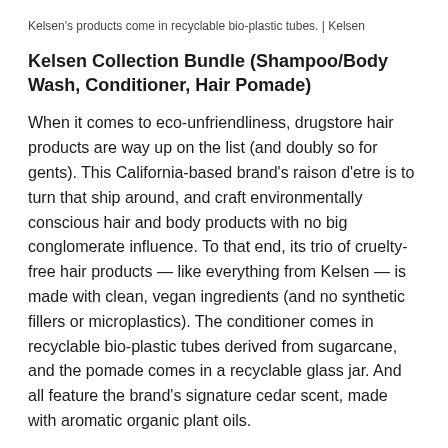Kelsen's products come in recyclable bio-plastic tubes. | Kelsen
Kelsen Collection Bundle (Shampoo/Body Wash, Conditioner, Hair Pomade)
When it comes to eco-unfriendliness, drugstore hair products are way up on the list (and doubly so for gents). This California-based brand's raison d'etre is to turn that ship around, and craft environmentally conscious hair and body products with no big conglomerate influence. To that end, its trio of cruelty-free hair products — like everything from Kelsen — is made with clean, vegan ingredients (and no synthetic fillers or microplastics). The conditioner comes in recyclable bio-plastic tubes derived from sugarcane, and the pomade comes in a recyclable glass jar. And all feature the brand's signature cedar scent, made with aromatic organic plant oils.